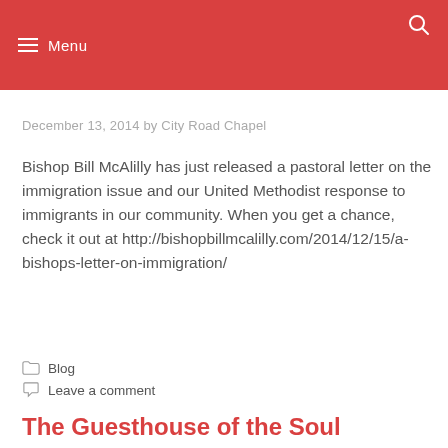Menu
December 13, 2014 by City Road Chapel
Bishop Bill McAlilly has just released a pastoral letter on the immigration issue and our United Methodist response to immigrants in our community. When you get a chance, check it out at http://bishopbillmcalilly.com/2014/12/15/a-bishops-letter-on-immigration/
Blog
Leave a comment
The Guesthouse of the Soul